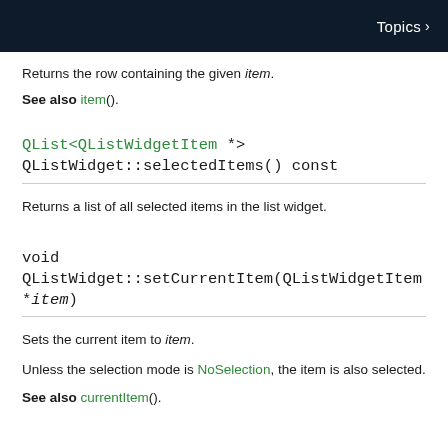Topics >
Returns the row containing the given item.
See also item().
QList<QListWidgetItem *> QListWidget::selectedItems() const
Returns a list of all selected items in the list widget.
void QListWidget::setCurrentItem(QListWidgetItem *item)
Sets the current item to item.
Unless the selection mode is NoSelection, the item is also selected.
See also currentItem().